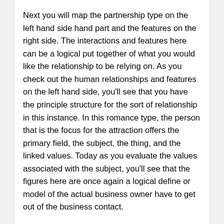Next you will map the partnership type on the left hand side hand part and the features on the right side. The interactions and features here can be a logical put together of what you would like the relationship to be relying on. As you check out the human relationships and features on the left hand side, you'll see that you have the principle structure for the sort of relationship in this instance. In this romance type, the person that is the focus for the attraction offers the primary field, the subject, the thing, and the linked values. Today as you evaluate the values associated with the subject, you'll see that the figures here are once again a logical define or model of the actual business owner have to get out of the business contact.
The relationship types that can be produced by using the 3rd there's r 360 technology are called multiple-to-one, one-to-many, and many-to-many romantic relationships. The umschlüsselung configuration that is used to determine these types is the same process that you just would use to determine the relationship types. You put